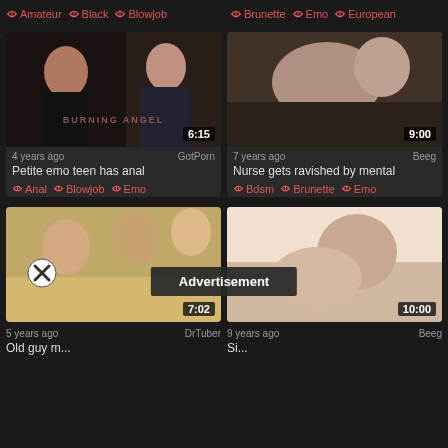Amateur  Black  Blowjob  |  Brunette  Emo  European
[Figure (photo): Video thumbnail - Petite emo teen scene, 6:15, GotPorn]
[Figure (photo): Video thumbnail - Nurse scene, 9:00, Beeg]
4 years ago   GotPorn
Petite emo teen has anal
Anal  Blowjob  Emo
7 years ago   Beeg
Nurse gets ravished by mental
Bdsm  Brunette  Emo
[Figure (photo): Video thumbnail - Group scene, 7:02, DrTuber]
[Figure (photo): Video thumbnail - Female scene, 10:00, Beeg]
Advertisement
5 years ago   DrTuber
Old guy m...
9 years ago   Beeg
Si...